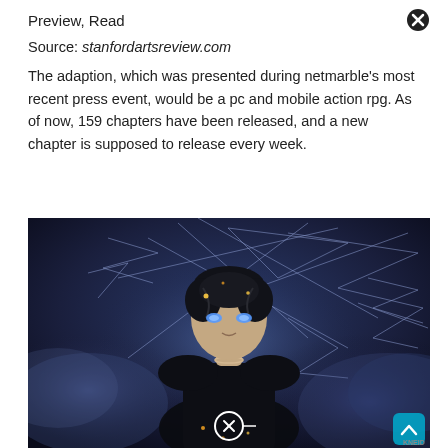Preview, Read
Source: stanfordartsreview.com
The adaption, which was presented during netmarble's most recent press event, would be a pc and mobile action rpg. As of now, 159 chapters have been released, and a new chapter is supposed to release every week.
[Figure (illustration): Anime-style illustration of a dark-haired male character with glowing golden eyes, surrounded by magical geometric light patterns on a dark blue/purple background. A close button icon appears in the lower center of the image. A scroll-to-top arrow button appears in the bottom right. A watermark 'KNEID' appears in the bottom right corner.]